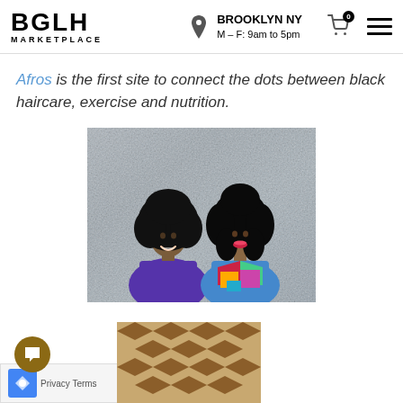BGLH MARKETPLACE — BROOKLYN NY M–F: 9am to 5pm
Afros is the first site to connect the dots between black haircare, exercise and nutrition.
[Figure (photo): Two women with natural afro hairstyles posing together. The woman on the left wears a solid purple top, the woman on the right wears a colorful geometric patterned top. Background is a grey metallic texture.]